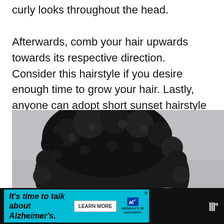curly looks throughout the head. Afterwards, comb your hair upwards towards its respective direction. Consider this hairstyle if you desire enough time to grow your hair. Lastly, anyone can adopt short sunset hairstyle provided your hair attains the required length.
[Figure (photo): Photo of a person with a voluminous curly natural hairstyle, shown from behind/side, with light gray background. A scroll-up button (chevron) is visible in the upper right of the image.]
[Figure (infographic): Advertisement banner at the bottom: dark background with cyan/teal colored ad panel reading 'It's time to talk about Alzheimer's.' with a 'LEARN MORE' button and the Alzheimer's Association logo. A close (X) button and additional site navigation icons are visible.]